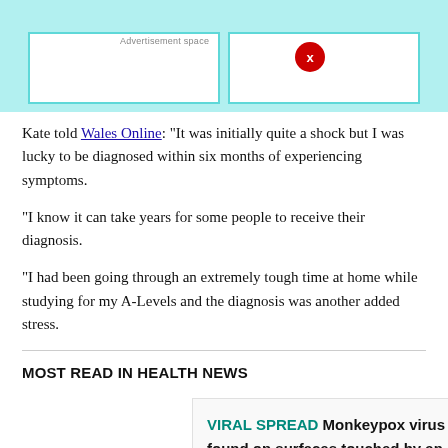[Figure (other): Advertisement banner with teal background and two white boxes with teal borders]
Kate told Wales Online: "It was initially quite a shock but I was lucky to be diagnosed within six months of experiencing symptoms.
"I know it can take years for some people to receive their diagnosis.
"I had been going through an extremely tough time at home while studying for my A-Levels and the diagnosis was another added stress.
MOST READ IN HEALTH NEWS
VIRAL SPREAD  Monkeypox virus found on surfaces touched by an infected person, study finds